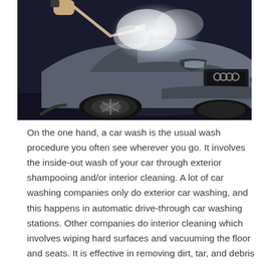[Figure (photo): A silver Audi car being pressure-washed in a dark setting. A person's arm is visible holding a pressure washer nozzle spraying high-pressure water/steam at the front of the car, creating a bright mist cloud over the hood.]
On the one hand, a car wash is the usual wash procedure you often see wherever you go. It involves the inside-out wash of your car through exterior shampooing and/or interior cleaning. A lot of car washing companies only do exterior car washing, and this happens in automatic drive-through car washing stations. Other companies do interior cleaning which involves wiping hard surfaces and vacuuming the floor and seats. It is effective in removing dirt, tar, and debris